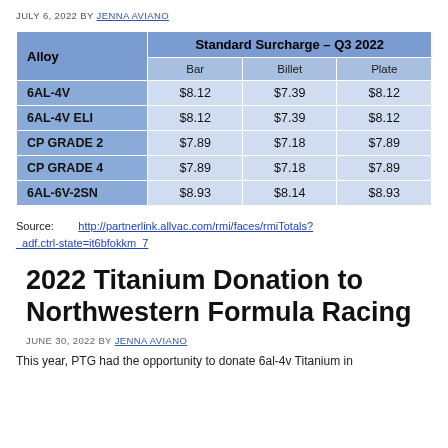JULY 6, 2022 BY JENNA AVIANO
| Alloy | Bar | Billet | Plate |
| --- | --- | --- | --- |
| 6AL-4V | $8.12 | $7.39 | $8.12 |
| 6AL-4V ELI | $8.12 | $7.39 | $8.12 |
| CP GRADE 2 | $7.89 | $7.18 | $7.89 |
| CP GRADE 4 | $7.89 | $7.18 | $7.89 |
| 6AL-6V-2SN | $8.93 | $8.14 | $8.93 |
Source: http://partnerlink.allvac.com/rmi/faces/rmiTotals?_adf.ctrl-state=it6bfokkm_7
2022 Titanium Donation to Northwestern Formula Racing
JUNE 30, 2022 BY JENNA AVIANO
This year, PTG had the opportunity to donate 6al-4v Titanium in